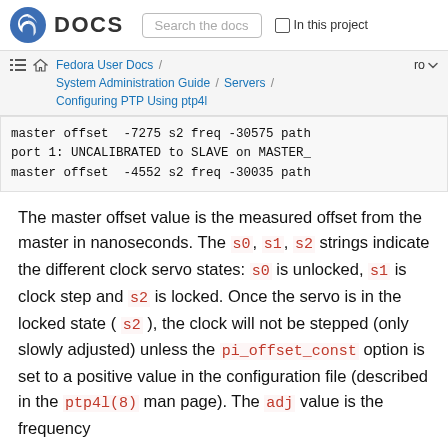DOCS | Search the docs | In this project
Fedora User Docs / System Administration Guide / Servers / Configuring PTP Using ptp4l | ro
master offset  -7275 s2 freq -30575 path
port 1: UNCALIBRATED to SLAVE on MASTER_
master offset  -4552 s2 freq -30035 path
The master offset value is the measured offset from the master in nanoseconds. The s0, s1, s2 strings indicate the different clock servo states: s0 is unlocked, s1 is clock step and s2 is locked. Once the servo is in the locked state ( s2 ), the clock will not be stepped (only slowly adjusted) unless the pi_offset_const option is set to a positive value in the configuration file (described in the ptp4l(8) man page). The adj value is the frequency